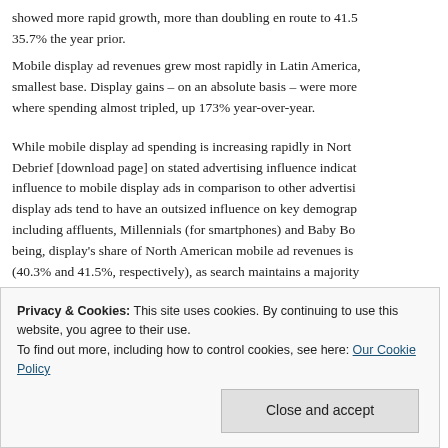showed more rapid growth, more than doubling en route to 41.5% the year prior.
Mobile display ad revenues grew most rapidly in Latin America, smallest base. Display gains – on an absolute basis – were more where spending almost tripled, up 173% year-over-year.
While mobile display ad spending is increasing rapidly in North Debrief [download page] on stated advertising influence indicates influence to mobile display ads in comparison to other advertising display ads tend to have an outsized influence on key demographics including affluents, Millennials (for smartphones) and Baby Boomers being, display's share of North American mobile ad revenues is (40.3% and 41.5%, respectively), as search maintains a majority
Privacy & Cookies: This site uses cookies. By continuing to use this website, you agree to their use. To find out more, including how to control cookies, see here: Our Cookie Policy
recently reported that mobile ad revenues in the US grew to $7